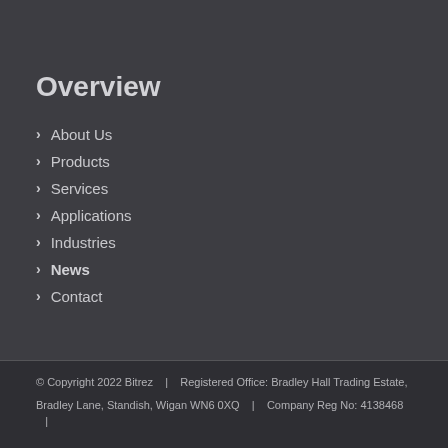Overview
About Us
Products
Services
Applications
Industries
News
Contact
© Copyright 2022 Bitrez   |   Registered Office: Bradley Hall Trading Estate, Bradley Lane, Standish, Wigan WN6 0XQ   |   Company Reg No: 4138468   |